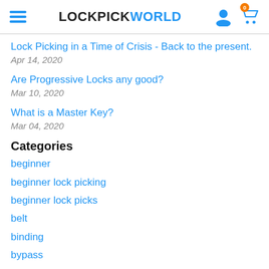LOCKPICKWORLD
Lock Picking in a Time of Crisis - Back to the present.
Apr 14, 2020
Are Progressive Locks any good?
Mar 10, 2020
What is a Master Key?
Mar 04, 2020
Categories
beginner
beginner lock picking
beginner lock picks
belt
binding
bypass